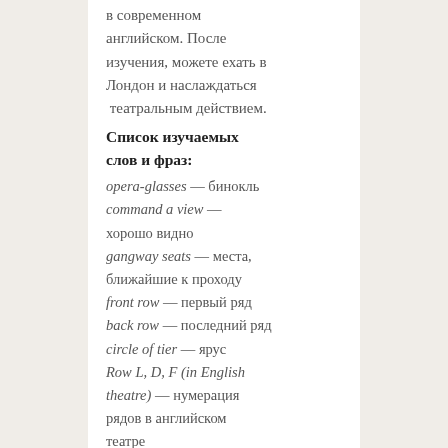в современном английском. После изучения, можете ехать в Лондон и наслаждаться театральным действием.
Список изучаемых слов и фраз:
opera-glasses — бинокль
command a view — хорошо видно
gangway seats — места, ближайшие к проходу
front row — первый ряд
back row — последний ряд
circle of tier — ярус
Row L, D, F (in English theatre) — нумерация рядов в английском театре